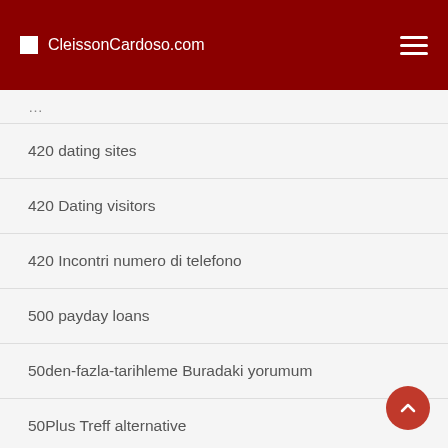CleissonCardoso.com
420 dating sites
420 Dating visitors
420 Incontri numero di telefono
500 payday loans
50den-fazla-tarihleme Buradaki yorumum
50Plus Treff alternative
90 day payday loans